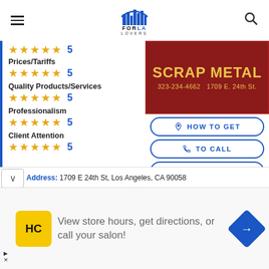FOR LA LOVERS
[Figure (screenshot): Scrap Metal business sign showing 323-234-4662 and 1709 E. 24th St.]
Prices/Tariffs — 5 stars — 5
Quality Products/Services — 5 stars — 5
Professionalism — 5 stars — 5
Client Attention — 5 stars — 5
HOW TO GET
TO CALL
WHATSAPP
WEB PAGE
Address: 1709 E 24th St, Los Angeles, CA 90058
[Figure (infographic): Advertisement: View store hours, get directions, or call your salon!]